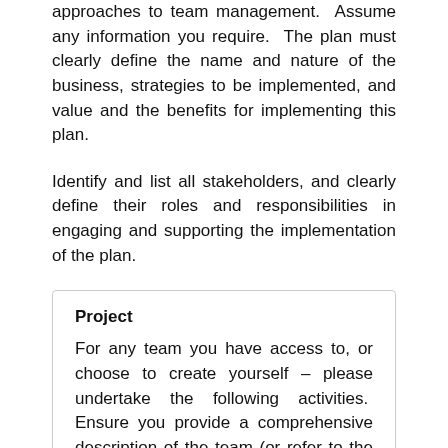approaches to team management. Assume any information you require. The plan must clearly define the name and nature of the business, strategies to be implemented, and value and the benefits for implementing this plan.
Identify and list all stakeholders, and clearly define their roles and responsibilities in engaging and supporting the implementation of the plan.
Project
For any team you have access to, or choose to create yourself – please undertake the following activities. Ensure you provide a comprehensive description of the team (or refer to the one in the case study).